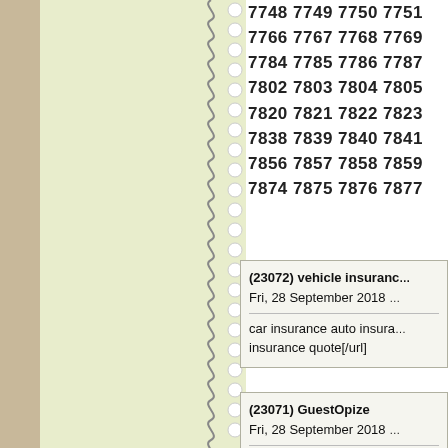7748 7749 7750 7751 7766 7767 7768 7769 7784 7785 7786 7787 7802 7803 7804 7805 7820 7821 7822 7823 7838 7839 7840 7841 7856 7857 7858 7859 7874 7875 7876 7877
(23072) vehicle insurance
Fri, 28 September 2018

car insurance auto insurance quote[/url]
(23071) GuestOpize
Fri, 28 September 2018

fluoxetine hcl vs fluoxetine online fluoxetine [url=htt